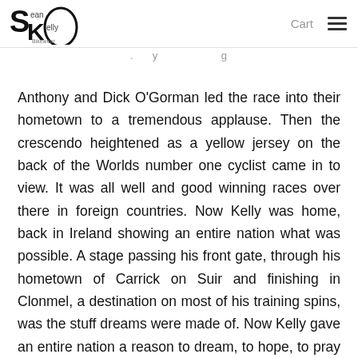Sean Kelly Bikewear — Cart
. . . g
Anthony and Dick O'Gorman led the race into their hometown to a tremendous applause. Then the crescendo heightened as a yellow jersey on the back of the Worlds number one cyclist came in to view. It was all well and good winning races over there in foreign countries. Now Kelly was home, back in Ireland showing an entire nation what was possible. A stage passing his front gate, through his hometown of Carrick on Suir and finishing in Clonmel, a destination on most of his training spins, was the stuff dreams were made of. Now Kelly gave an entire nation a reason to dream, to hope, to pray and to come out and shout and roar as he passed by, inches from their outstretched arms.